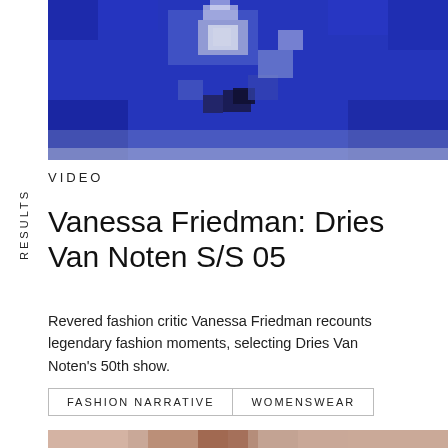[Figure (photo): Pixelated/blurred blue-toned image at the top of the page, likely a fashion-related video thumbnail]
RESULTS
VIDEO
Vanessa Friedman: Dries Van Noten S/S 05
Revered fashion critic Vanessa Friedman recounts legendary fashion moments, selecting Dries Van Noten's 50th show.
FASHION NARRATIVE   WOMENSWEAR
[Figure (photo): Pixelated/blurred flesh-toned image at the bottom of the page, partial view of a person]